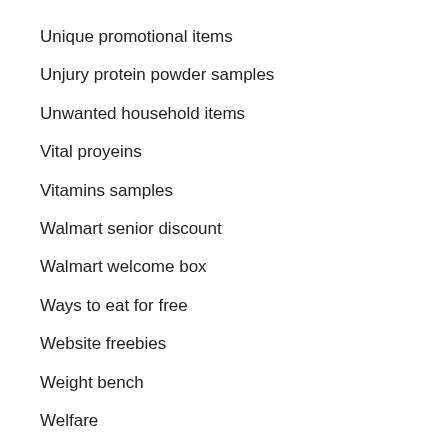Unique promotional items
Unjury protein powder samples
Unwanted household items
Vital proyeins
Vitamins samples
Walmart senior discount
Walmart welcome box
Ways to eat for free
Website freebies
Weight bench
Welfare
Western food
Wig store near me